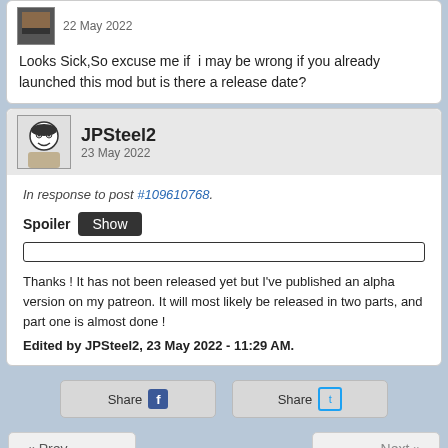22 May 2022
Looks Sick,So excuse me if  i may be wrong if you already launched this mod but is there a release date?
JPSteel2
23 May 2022
In response to post #109610768.
Spoiler  Show
Thanks ! It has not been released yet but I've published an alpha version on my patreon. It will most likely be released in two parts, and part one is almost done !
Edited by JPSteel2, 23 May 2022 - 11:29 AM.
Share  Share
« Prev
Next »